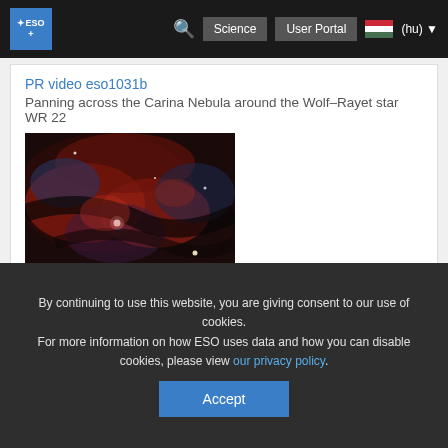ESO | Science | User Portal | (hu)
PR video eso1031b
Panning across the Carina Nebula around the Wolf–Rayet star WR 22
[Figure (photo): Photograph of the Carina Nebula showing gas clouds and stars in red, blue and dark tones]
PR video eso1031c
3D Animation of the Carina Nebula
By continuing to use this website, you are giving consent to our use of cookies.
For more information on how ESO uses data and how you can disable cookies, please view our privacy policy.
Accept